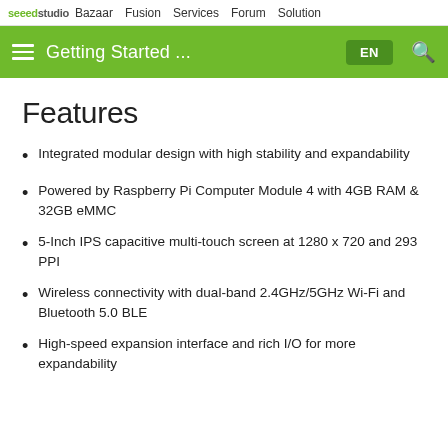seeed studio  Bazaar  Fusion  Services  Forum  Solution
Getting Started ...
Features
Integrated modular design with high stability and expandability
Powered by Raspberry Pi Computer Module 4 with 4GB RAM & 32GB eMMC
5-Inch IPS capacitive multi-touch screen at 1280 x 720 and 293 PPI
Wireless connectivity with dual-band 2.4GHz/5GHz Wi-Fi and Bluetooth 5.0 BLE
High-speed expansion interface and rich I/O for more expandability